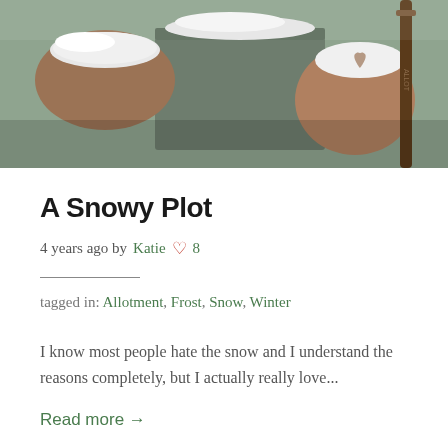[Figure (photo): A snowy winter scene showing snow-covered terracotta pots and a metal container, with a garden tool handle visible on the right side.]
A Snowy Plot
4 years ago by Katie ♡ 8
tagged in: Allotment, Frost, Snow, Winter
I know most people hate the snow and I understand the reasons completely, but I actually really love...
Read more →